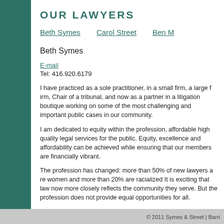OUR LAWYERS
Beth Symes   Carol Street   Ben M
Beth Symes
E-mail
Tel: 416.920.6179
I have practiced as a sole practitioner, in a small firm, a large firm, Chair of a tribunal, and now as a partner in a litigation boutique working on some of the most challenging and important public cases in our community.
I am dedicated to equity within the profession, affordable high quality legal services for the public. Equity, excellence and affordability can be achieved while ensuring that our members are financially vibrant.
The profession has changed: more than 50% of new lawyers are women and more than 20% are racialized It is exciting that law now more closely reflects the community they serve. But the profession does not provide equal opportunities for all.
Young women lawyers are leaving the practice in large numbers...
© 2011 Symes & Street | Barri...